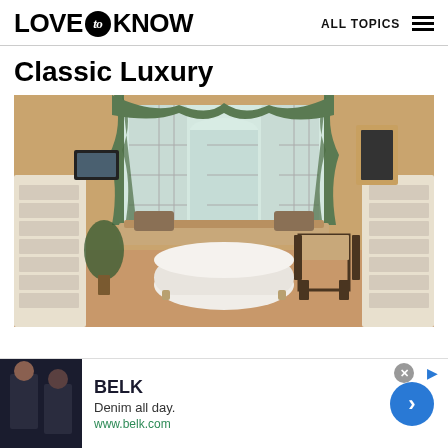LOVE to KNOW   ALL TOPICS
Classic Luxury
[Figure (photo): Elegant luxury bathroom with clawfoot bathtub in center, large arched windows with green drape curtains, built-in white cabinetry on both sides, a dark wood chair with cushion, and warm golden walls.]
BELK
Denim all day.
www.belk.com